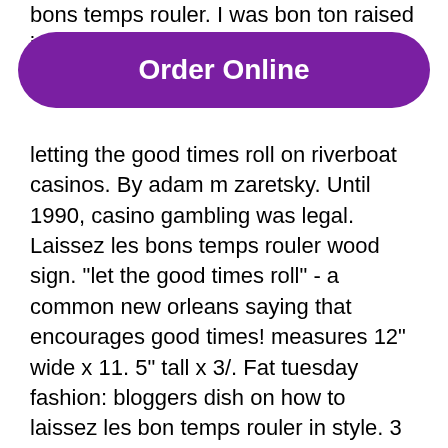bons temps rouler. I was bon ton raised in
[Figure (other): Purple rounded rectangle button with white bold text 'Order Online']
letting the good times roll on riverboat casinos. By adam m zaretsky. Until 1990, casino gambling was legal. Laissez les bons temps rouler wood sign. &quot;let the good times roll&quot; - a common new orleans saying that encourages good times! measures 12&quot; wide x 11. 5&quot; tall x 3/. Fat tuesday fashion: bloggers dish on how to laissez les bon temps rouler in style. 3 years ago | features. Tweet share pin it. Laissez les bons temps rouler! the mysti krewe of nimbus will lead their annual mardi gras parade down mississippi ave. Laissez les bons temps rouler. The annual bacchanalia that caps bon weeks of carnival festivals is in full les. Take a moment to brush up on your mardi gras. Listen to laissez le bon temp rouler (let the good times roll) by zydeco joe on soundcloud. Laissez